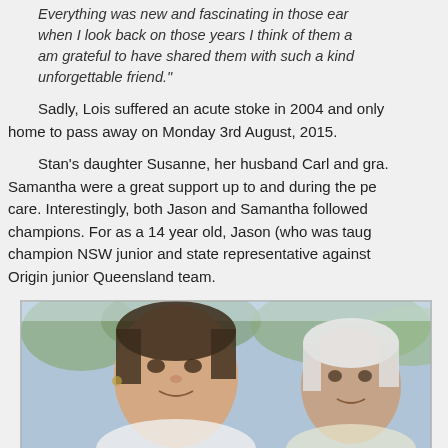Everything was new and fascinating in those ear... when I look back on those years I think of them a... am grateful to have shared them with such a kind... unforgettable friend."
Sadly, Lois suffered an acute stoke in 2004 and only... home to pass away on Monday 3rd August, 2015.
Stan's daughter Susanne, her husband Carl and gra... Samantha were a great support up to and during the pe... care. Interestingly, both Jason and Samantha followed... champions. For as a 14 year old, Jason (who was taug... champion NSW junior and state representative against... Origin junior Queensland team.
[Figure (photo): A photograph showing a young woman smiling, with another person partially visible beside her. Outdoor background with trees/foliage visible.]